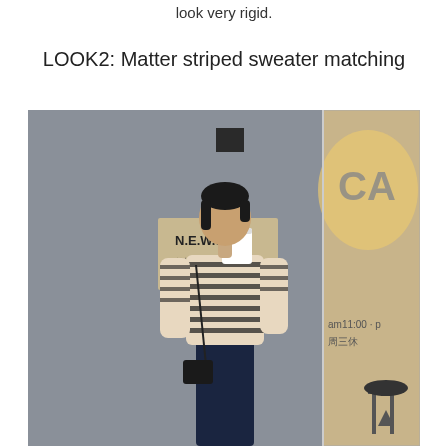look very rigid.
LOOK2: Matter striped sweater matching
[Figure (photo): A young Asian woman wearing a black-and-white horizontal striped long-sleeve top and dark navy trousers, holding a white coffee cup up to her face, standing in front of a grey concrete wall with a sign reading N.E.W.S, beside a glass cafe storefront showing 'CA' letters and 'am11:00' text. She carries a small black crossbody bag.]